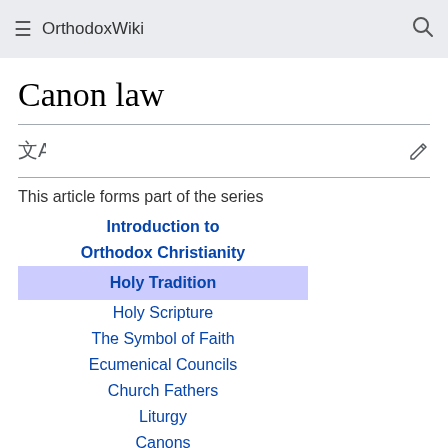OrthodoxWiki
Canon law
This article forms part of the series
Introduction to
Orthodox Christianity
Holy Tradition
Holy Scripture
The Symbol of Faith
Ecumenical Councils
Church Fathers
Liturgy
Canons
Icons